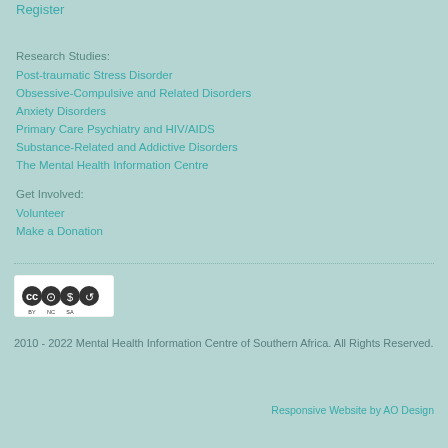Register
Research Studies:
Post-traumatic Stress Disorder
Obsessive-Compulsive and Related Disorders
Anxiety Disorders
Primary Care Psychiatry and HIV/AIDS
Substance-Related and Addictive Disorders
The Mental Health Information Centre
Get Involved:
Volunteer
Make a Donation
[Figure (logo): Creative Commons BY NC SA license badge]
2010 - 2022 Mental Health Information Centre of Southern Africa. All Rights Reserved.
Responsive Website by AO Design